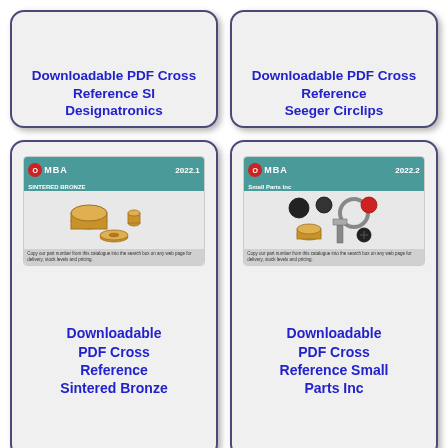[Figure (illustration): Partially visible card at top-left: Downloadable PDF Cross Reference SI Designatronics]
Downloadable PDF Cross Reference SI Designatronics
[Figure (illustration): Partially visible card at top-right: Downloadable PDF Cross Reference Seeger Circlips]
Downloadable PDF Cross Reference Seeger Circlips
[Figure (illustration): MBA 2022.1 Sintered Bronze catalogue card with bronze parts photo]
Downloadable PDF Cross Reference Sintered Bronze
[Figure (illustration): MBA 2022.2 Small Parts Inc catalogue card with small parts photo]
Downloadable PDF Cross Reference Small Parts Inc
[Figure (illustration): MBA 2022.1 Timing Belts & Pulleys catalogue card partially visible at bottom-left]
[Figure (illustration): Dollar sign green icon card at bottom-right, partially visible]